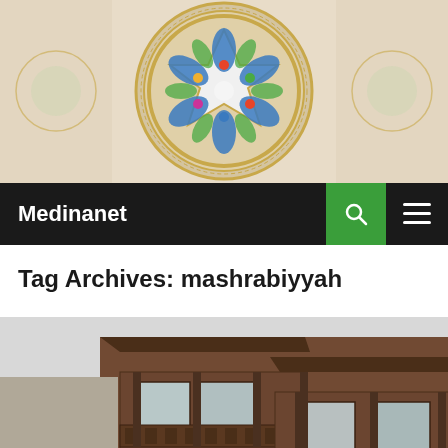[Figure (photo): Ornate Islamic geometric ceiling decoration with star pattern, colorful blue, green, yellow and white tile mosaic]
Medinanet
Tag Archives: mashrabiyyah
[Figure (photo): Traditional Islamic wooden mashrabiyyah balconies on an old building facade, brown wooden lattice work, pale sky background]